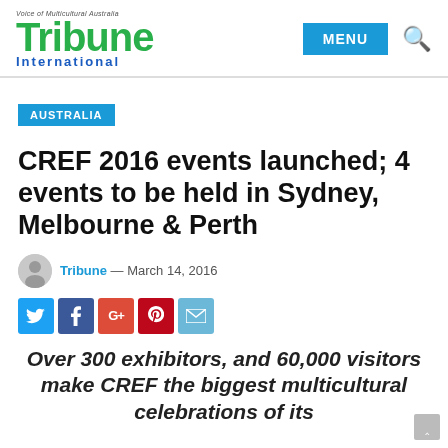Tribune International — Voice of Multicultural Australia
AUSTRALIA
CREF 2016 events launched; 4 events to be held in Sydney, Melbourne & Perth
Tribune — March 14, 2016
[Figure (other): Social media share icons: Twitter, Facebook, Google+, Pinterest, Email]
Over 300 exhibitors, and 60,000 visitors make CREF the biggest multicultural celebrations of its